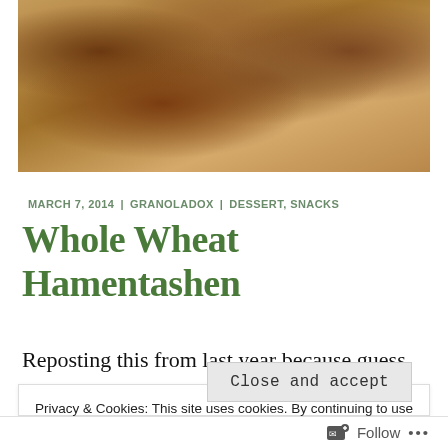[Figure (photo): Close-up photo of baked whole wheat hamentashen cookies on a light surface, showing triangular pastries with jam filling visible in center.]
MARCH 7, 2014  |  GRANOLADOX  |  DESSERT, SNACKS
Whole Wheat Hamentashen
Reposting this from last year because guess
Privacy & Cookies: This site uses cookies. By continuing to use this website, you agree to their use.
To find out more, including how to control cookies, see here: Cookie Policy
Close and accept
Follow  ...